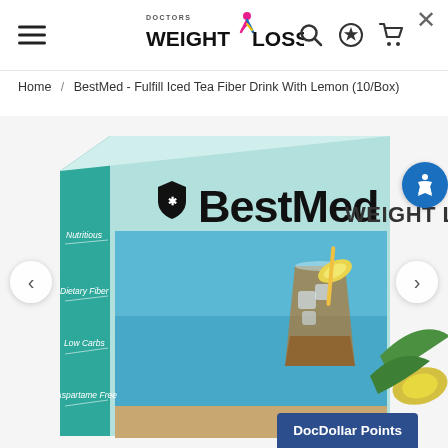Doctors Weight Loss - navigation header with hamburger menu, logo, search, rewards, and cart icons
Home / BestMed - Fulfill Iced Tea Fiber Drink With Lemon (10/Box)
[Figure (photo): BestMed Weight Loss product box showing Fulfill Iced Tea Fiber Drink with Lemon. Box is teal/light blue color with text 'BestMed WEIGHT LOSS'. Left side of box lists: Nutritious, Dietary Fiber, Low Carbs, Aspartame Free. Background shows an iced tea drink with lemon slice and tropical ocean setting.]
DocDollar Points